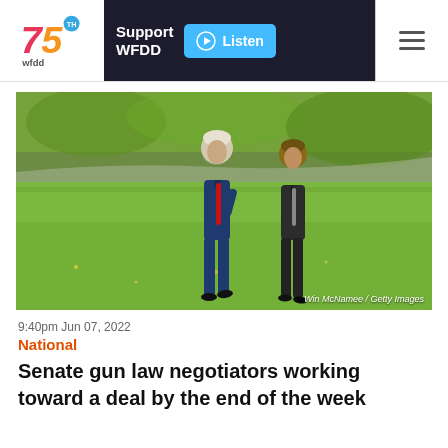WFDD 75th anniversary logo, Support WFDD, Listen, hamburger menu
[Figure (photo): Two men in suits walking on a grass lawn outdoors. Photo credit: Win McNamee / Getty Images]
9:40pm Jun 07, 2022
National
Senate gun law negotiators working toward a deal by the end of the week